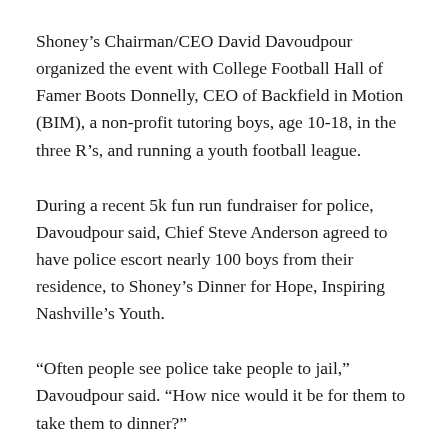Shoney’s Chairman/CEO David Davoudpour organized the event with College Football Hall of Famer Boots Donnelly, CEO of Backfield in Motion (BIM), a non-profit tutoring boys, age 10-18, in the three R’s, and running a youth football league.
During a recent 5k fun run fundraiser for police, Davoudpour said, Chief Steve Anderson agreed to have police escort nearly 100 boys from their residence, to Shoney’s Dinner for Hope, Inspiring Nashville’s Youth.
“Often people see police take people to jail,” Davoudpour said. “How nice would it be for them to take them to dinner?”